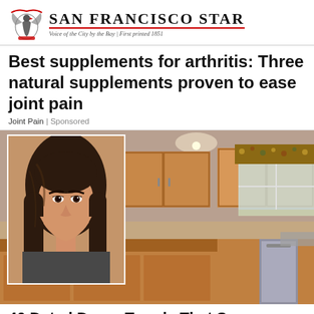San Francisco Star — Voice of the City by the Bay | First printed 1851
Best supplements for arthritis: Three natural supplements proven to ease joint pain
Joint Pain | Sponsored
[Figure (photo): Composite image: portrait of a woman with serious expression overlaid on a kitchen with oak cabinets, decorative plates, floral valance curtains, and a kitchen island]
40 Dated Decor Trends That Scream 'Senior'